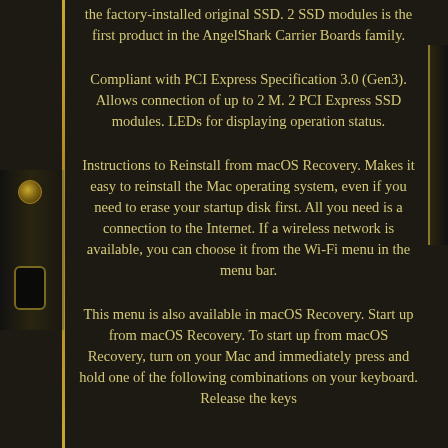the factory-installed original SSD. 2 SSD modules is the first product in the AngelShark Carrier Boards family.
Compliant with PCI Express Specification 3.0 (Gen3). Allows connection of up to 2 M. 2 PCI Express SSD modules. LEDs for displaying operation status.
Instructions to Reinstall from macOS Recovery. Makes it easy to reinstall the Mac operating system, even if you need to erase your startup disk first. All you need is a connection to the Internet. If a wireless network is available, you can choose it from the Wi-Fi menu in the menu bar.
This menu is also available in macOS Recovery. Start up from macOS Recovery. To start up from macOS Recovery, turn on your Mac and immediately press and hold one of the following combinations on your keyboard. Release the keys when you see the spinning globe or a startup disk.